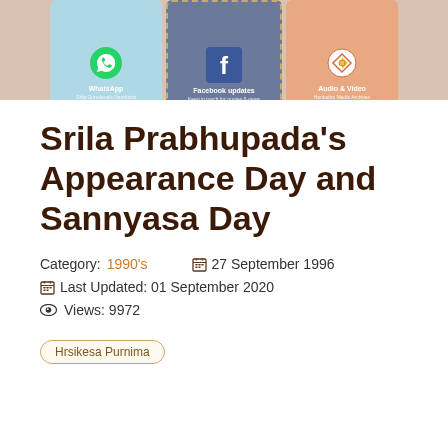[Figure (screenshot): Banner with three tiles: WhatsApp (Srila Gurudeva's Namhatta), Facebook updates (Keep in touch for quotes & news), Audio & Video (Harikatha Media Archives)]
Srila Prabhupada's Appearance Day and Sannyasa Day
Category: 1990's    27 September 1996
Last Updated: 01 September 2020
Views: 9972
Hrsikesa Purnima